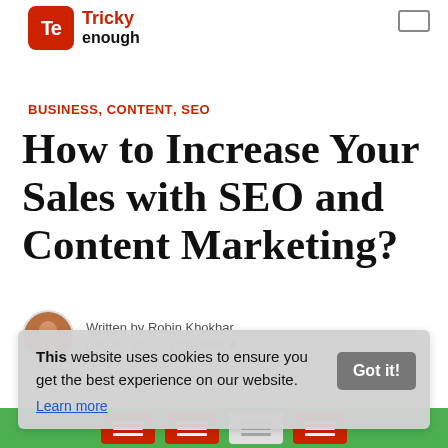Tricky enough
BUSINESS, CONTENT, SEO
How to Increase Your Sales with SEO and Content Marketing?
Written by Robin Khokhar
Dec 30, 2020 · 1 min read ★
This website uses cookies to ensure you get the best experience on our website. Learn more